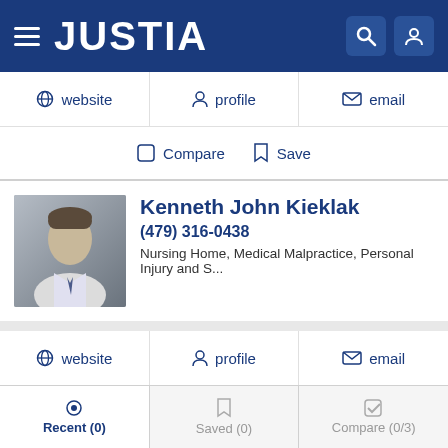JUSTIA
website  profile  email
Compare  Save
Kenneth John Kieklak
(479) 316-0438
Nursing Home, Medical Malpractice, Personal Injury and S...
website  profile  email
Compare  Save
Richard Lane Hughes
Recent (0)   Saved (0)   Compare (0/3)